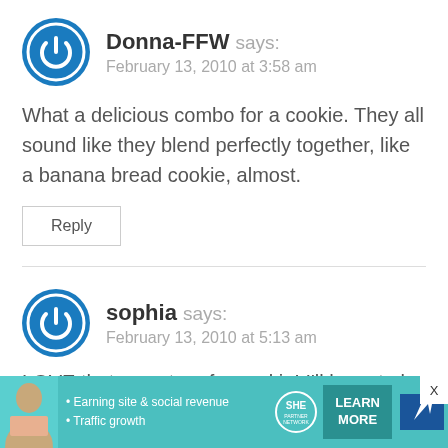Donna-FFW says: February 13, 2010 at 3:58 am
What a delicious combo for a cookie. They all sound like they blend perfectly together, like a banana bread cookie, almost.
Reply
sophia says: February 13, 2010 at 5:13 am
LOVE that monster of a cookie! I'll have to borro
• Earning site & social revenue • Traffic growth | SHE PARTNER NETWORK BECOME A MEMBER | LEARN MORE